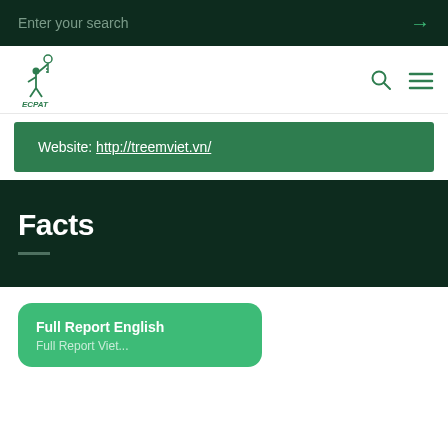Enter your search →
[Figure (logo): ECPAT logo — green figure of a child raising arms with a key, text 'ECPAT' below]
Website: http://treemviet.vn/
Facts
Full Report English
Full Report Viet...